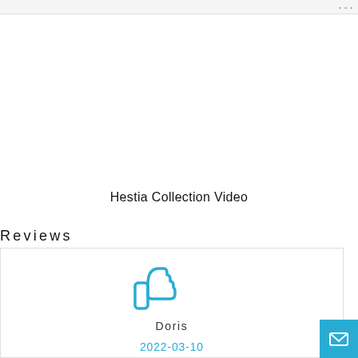...
Hestia Collection Video
Reviews
[Figure (illustration): Blue thumbs-up icon]
Doris
2022-03-10